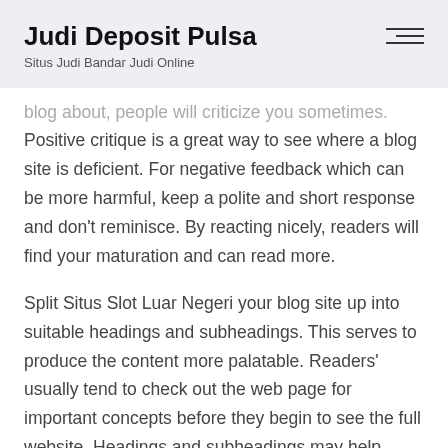Judi Deposit Pulsa
Situs Judi Bandar Judi Online
blog about, people will criticize you sometimes. Positive critique is a great way to see where a blog site is deficient. For negative feedback which can be more harmful, keep a polite and short response and don't reminisce. By reacting nicely, readers will find your maturation and can read more.
Split Situs Slot Luar Negeri your blog site up into suitable headings and subheadings. This serves to produce the content more palatable. Readers' usually tend to check out the web page for important concepts before they begin to see the full website. Headings and subheadings may help